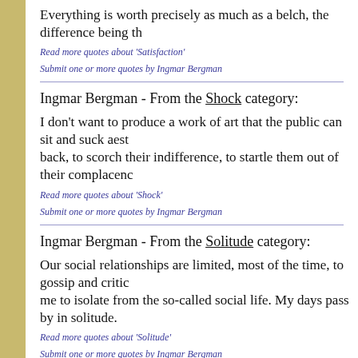Everything is worth precisely as much as a belch, the difference being th
Read more quotes about 'Satisfaction'
Submit one or more quotes by Ingmar Bergman
Ingmar Bergman - From the Shock category:
I don't want to produce a work of art that the public can sit and suck aest back, to scorch their indifference, to startle them out of their complacenc
Read more quotes about 'Shock'
Submit one or more quotes by Ingmar Bergman
Ingmar Bergman - From the Solitude category:
Our social relationships are limited, most of the time, to gossip and critic me to isolate from the so-called social life. My days pass by in solitude.
Read more quotes about 'Solitude'
Submit one or more quotes by Ingmar Bergman
Ingmar Bergman - From the Vision category: